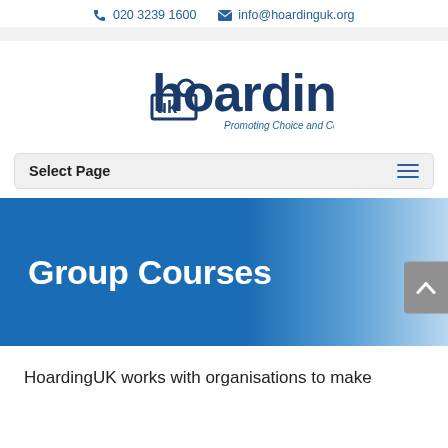020 3239 1600   info@hoardinguk.org
[Figure (logo): HoardingUK logo with text 'hoarding uk — Promoting Choice and Control']
Select Page
Group Courses
HoardingUK works with organisations to make